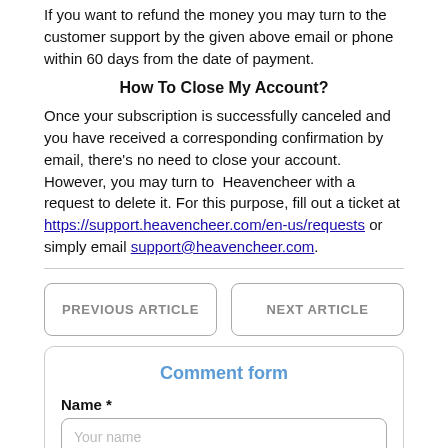If you want to refund the money you may turn to the customer support by the given above email or phone within 60 days from the date of payment.
How To Close My Account?
Once your subscription is successfully canceled and you have received a corresponding confirmation by email, there's no need to close your account. However, you may turn to Heavencheer with a request to delete it. For this purpose, fill out a ticket at https://support.heavencheer.com/en-us/requests or simply email support@heavencheer.com.
PREVIOUS ARTICLE
NEXT ARTICLE
Comment form
Name *
Your name
Email *
Your email